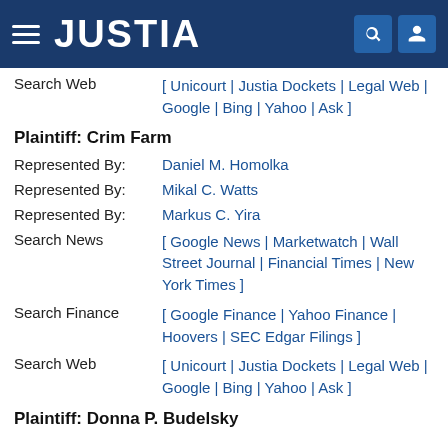JUSTIA
Search Web [ Unicourt | Justia Dockets | Legal Web | Google | Bing | Yahoo | Ask ]
Plaintiff: Crim Farm
Represented By: Daniel M. Homolka
Represented By: Mikal C. Watts
Represented By: Markus C. Yira
Search News [ Google News | Marketwatch | Wall Street Journal | Financial Times | New York Times ]
Search Finance [ Google Finance | Yahoo Finance | Hoovers | SEC Edgar Filings ]
Search Web [ Unicourt | Justia Dockets | Legal Web | Google | Bing | Yahoo | Ask ]
Plaintiff: Donna P. Budelsky